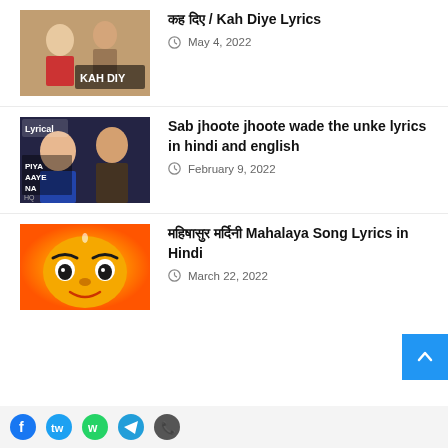[Figure (photo): Thumbnail image for Kah Diye song with text KAH DIY visible]
कह दिए / Kah Diye Lyrics
May 4, 2022
[Figure (photo): Lyrical thumbnail with text PIYA AAYE NA showing two actors]
Sab jhoote jhoote wade the unke lyrics in hindi and english
February 9, 2022
[Figure (illustration): Illustrated face of goddess Durga with orange background]
महिषासुर मर्दिनी Mahalaya Song Lyrics in Hindi
March 22, 2022